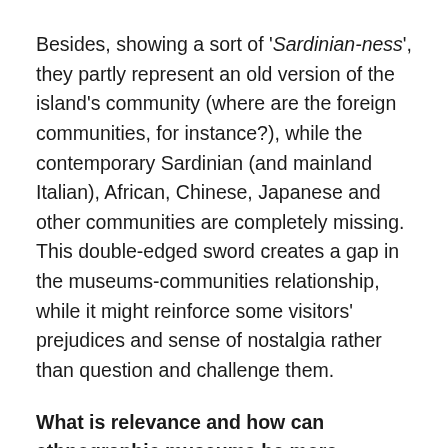Besides, showing a sort of 'Sardinian-ness', they partly represent an old version of the island's community (where are the foreign communities, for instance?), while the contemporary Sardinian (and mainland Italian), African, Chinese, Japanese and other communities are completely missing. This double-edged sword creates a gap in the museums-communities relationship, while it might reinforce some visitors' prejudices and sense of nostalgia rather than question and challenge them.
What is relevance and how can ethnographic museums be more relevant to their communities?
Drawing on Nina Simon's words, relevance has to do with how likely new information is to yield conclusions that matter to individuals[6]. In other words, it is not just about...